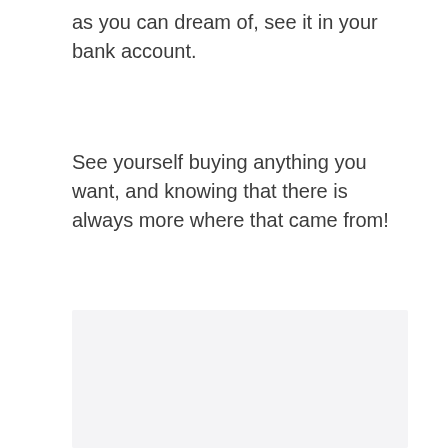as you can dream of, see it in your bank account.
See yourself buying anything you want, and knowing that there is always more where that came from!
[Figure (other): Light gray rectangular placeholder image area]